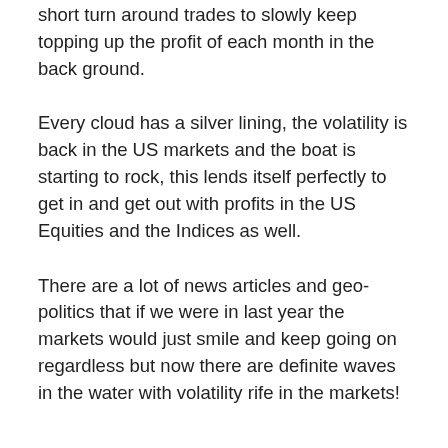short turn around trades to slowly keep topping up the profit of each month in the back ground.
Every cloud has a silver lining, the volatility is back in the US markets and the boat is starting to rock, this lends itself perfectly to get in and get out with profits in the US Equities and the Indices as well.
There are a lot of news articles and geo-politics that if we were in last year the markets would just smile and keep going on regardless but now there are definite waves in the water with volatility rife in the markets!